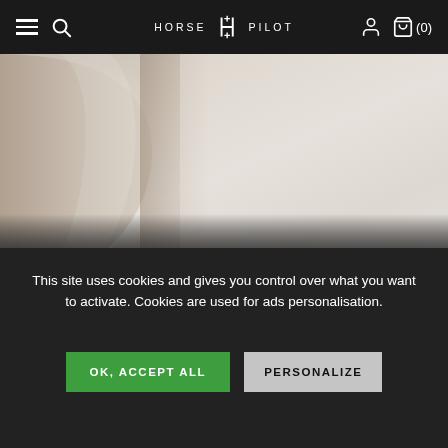HORSE PILOT navigation bar with hamburger menu, search icon, logo, account icon, and cart (0)
[Figure (photo): Close-up of cream/off-white fabric or equestrian garment, showing texture and a curved arm/fold shape against a light background]
This site uses cookies and gives you control over what you want to activate. Cookies are used for ads personalisation.
OK, ACCEPT ALL
PERSONALIZE